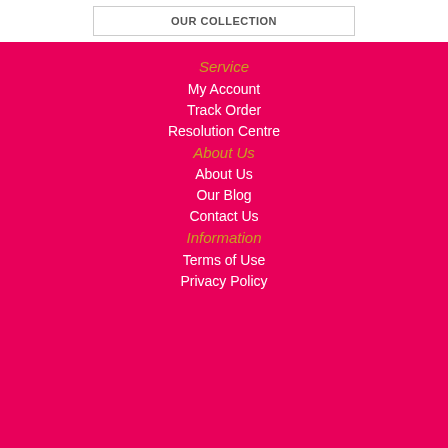Service
My Account
Track Order
Resolution Centre
About Us
About Us
Our Blog
Contact Us
Information
Terms of Use
Privacy Policy